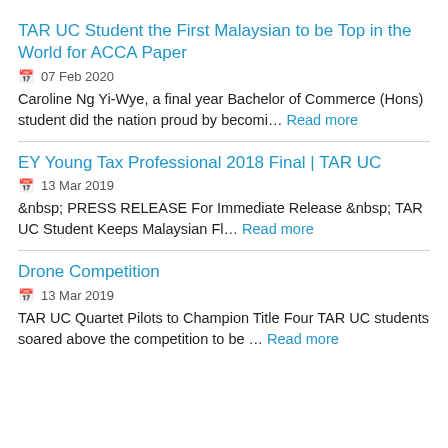TAR UC Student the First Malaysian to be Top in the World for ACCA Paper
07 Feb 2020
Caroline Ng Yi-Wye, a final year Bachelor of Commerce (Hons) student did the nation proud by becomi… Read more
EY Young Tax Professional 2018 Final | TAR UC
13 Mar 2019
&nbsp; PRESS RELEASE For Immediate Release &nbsp; TAR UC Student Keeps Malaysian Fl… Read more
Drone Competition
13 Mar 2019
TAR UC Quartet Pilots to Champion Title Four TAR UC students soared above the competition to be … Read more